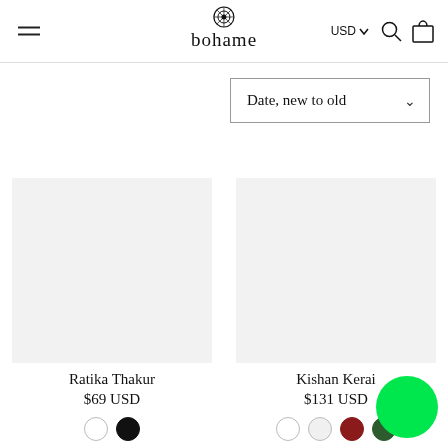bohame — USD — hamburger menu, search, cart icons
Date, new to old
Ratika Thakur
$69 USD
Kishan Kerai
$131 USD